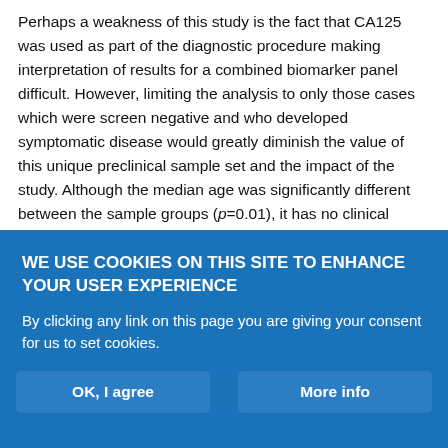Perhaps a weakness of this study is the fact that CA125 was used as part of the diagnostic procedure making interpretation of results for a combined biomarker panel difficult. However, limiting the analysis to only those cases which were screen negative and who developed symptomatic disease would greatly diminish the value of this unique preclinical sample set and the impact of the study. Although the median age was significantly different between the sample groups (p=0.01), it has no clinical significance in this post-menopausal population. It is known that HRT use is a risk factor for ovarian cancer (37) and also that HRT use can have a profound effect on the serum proteome (38). However, there was no significant difference in
WE USE COOKIES ON THIS SITE TO ENHANCE YOUR USER EXPERIENCE
By clicking any link on this page you are giving your consent for us to set cookies.